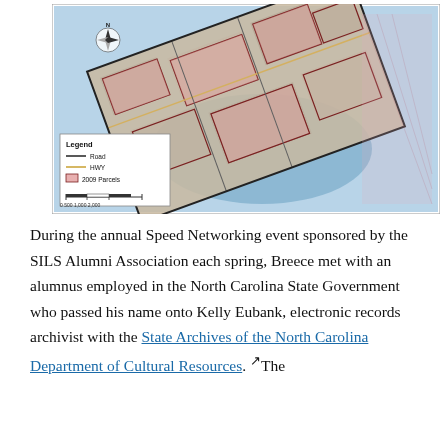[Figure (map): An aerial/satellite map showing land parcels overlaid on the terrain with a legend indicating Road, HWY, and 2009 Parcels, along with a scale bar and compass rose.]
During the annual Speed Networking event sponsored by the SILS Alumni Association each spring, Breece met with an alumnus employed in the North Carolina State Government who passed his name onto Kelly Eubank, electronic records archivist with the State Archives of the North Carolina Department of Cultural Resources. The